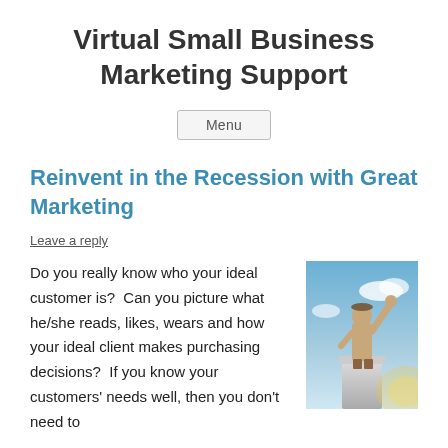Virtual Small Business Marketing Support
Menu
Reinvent in the Recession with Great Marketing
Leave a reply
Do you really know who your ideal customer is?  Can you picture what he/she reads, likes, wears and how your ideal client makes purchasing decisions?  If you know your customers' needs well, then you don't need to
[Figure (photo): Person standing on a podium with arm raised in triumph against a blue sky background]